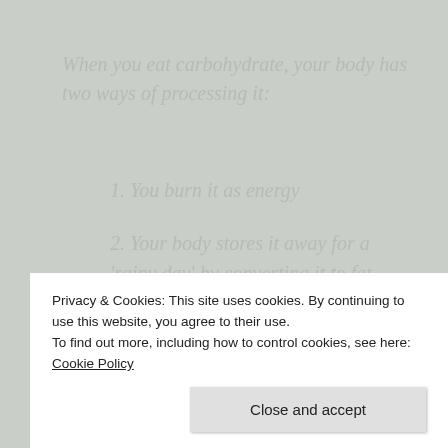When you eat carbohydrate, your body has two ways of processing it:
1. You burn it as energy
2. Your body stores it away for a 'rainy day' by converting it to fat.
Unless we're incredibly active, the volume of carbs we consume is never feasibly going to be burnt off. Much of it goes straight into the store-cupboard; for that rainy day, which never comes. In this way, we get fatter and
Privacy & Cookies: This site uses cookies. By continuing to use this website, you agree to their use.
To find out more, including how to control cookies, see here: Cookie Policy
Close and accept
Yes, you've guessed it. Insulin!